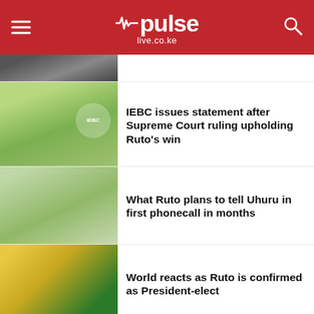pulse live.co.ke
[Figure (photo): Partial photo of a person in suit, top of page]
IEBC issues statement after Supreme Court ruling upholding Ruto's win
[Figure (photo): Man near IEBC podium/banner]
What Ruto plans to tell Uhuru in first phonecall in months
[Figure (photo): Man talking on phone, wearing blue jacket]
World reacts as Ruto is confirmed as President-elect
[Figure (photo): Ruto at podium with yellow and green decorations]
Raila gives way forward after
[Figure (photo): Raila partial photo at bottom]